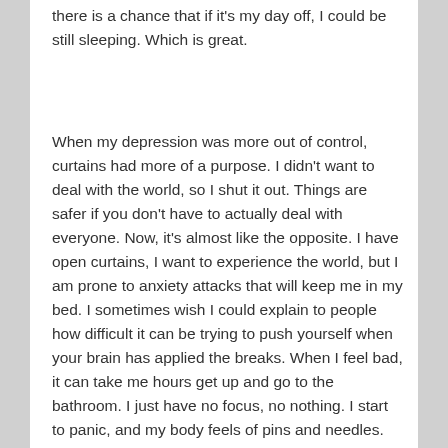there is a chance that if it's my day off, I could be still sleeping. Which is great.
When my depression was more out of control, curtains had more of a purpose. I didn't want to deal with the world, so I shut it out. Things are safer if you don't have to actually deal with everyone. Now, it's almost like the opposite. I have open curtains, I want to experience the world, but I am prone to anxiety attacks that will keep me in my bed. I sometimes wish I could explain to people how difficult it can be trying to push yourself when your brain has applied the breaks. When I feel bad, it can take me hours get up and go to the bathroom. I just have no focus, no nothing. I start to panic, and my body feels of pins and needles. The feeling can last 10 minutes, or an entire day.